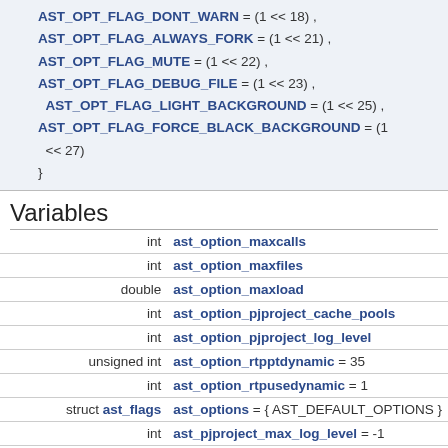AST_OPT_FLAG_DONT_WARN = (1 << 18) , AST_OPT_FLAG_ALWAYS_FORK = (1 << 21) , AST_OPT_FLAG_MUTE = (1 << 22) , AST_OPT_FLAG_DEBUG_FILE = (1 << 23) , AST_OPT_FLAG_LIGHT_BACKGROUND = (1 << 25) , AST_OPT_FLAG_FORCE_BLACK_BACKGROUND = (1 << 27) }
Variables
| Type | Name |
| --- | --- |
| int | ast_option_maxcalls |
| int | ast_option_maxfiles |
| double | ast_option_maxload |
| int | ast_option_pjproject_cache_pools |
| int | ast_option_pjproject_log_level |
| unsigned int | ast_option_rtpptdynamic = 35 |
| int | ast_option_rtpusedynamic = 1 |
| struct ast_flags | ast_options = { AST_DEFAULT_OPTIONS } |
| int | ast_pjproject_max_log_level = -1 |